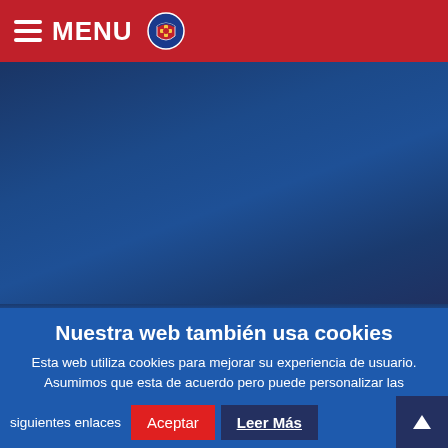MENU
[Figure (screenshot): Blue gradient hero background area of a government/municipal website]
Nuestra web también usa cookies
Esta web utiliza cookies para mejorar su experiencia de usuario. Asumimos que esta de acuerdo pero puede personalizar las opciones y saber más sobre ella en los siguientes enlaces
Aceptar
Leer Más